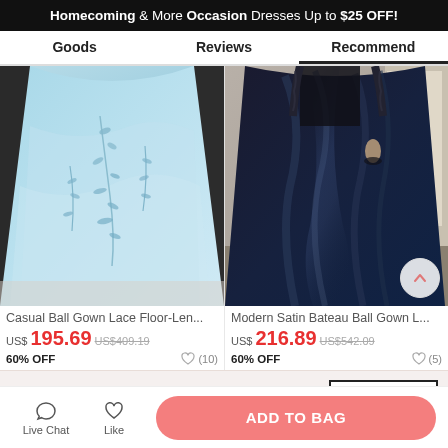Homecoming & More Occasion Dresses Up to $25 OFF!
Goods   Reviews   Recommend
[Figure (photo): Light blue ball gown with lace floral appliqué details on tulle skirt]
Casual Ball Gown Lace Floor-Len...
US$195.69  US$409.19
60% OFF  ♡ (10)
[Figure (photo): Dark navy/black satin ball gown with long sleeves, photographed indoors]
Modern Satin Bateau Ball Gown L...
US$216.89  US$542.09
60% OFF  ♡ (5)
Get $5 off for your first order!
CLAIM NOW
Live Chat   Like   ADD TO BAG